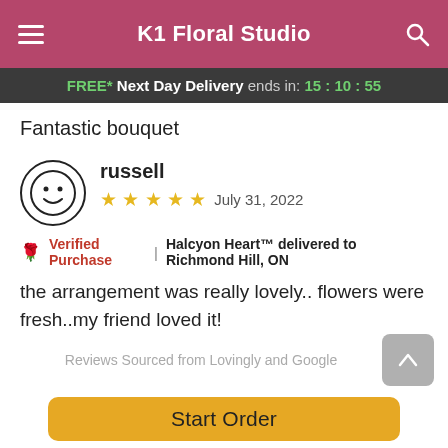K1 Floral Studio
FREE* Next Day Delivery ends in: 15:10:55
Fantastic bouquet
russell — ★★★★★ — July 31, 2022
Verified Purchase | Halcyon Heart™ delivered to Richmond Hill, ON
the arrangement was really lovely.. flowers were fresh..my friend loved it!
Reviews Sourced from Lovingly and Google
Start Order